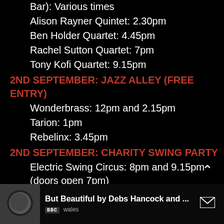Bar): Various times
Alison Rayner Quintet: 2.30pm
Ben Holder Quartet: 4.45pm
Rachel Sutton Quartet: 7pm
Tony Kofi Quartet: 9.15pm
2ND SEPTEMBER: JAZZ ALLEY (FREE ENTRY)
Wonderbrass: 12pm and 2.15pm
Tarion: 1pm
Rebelinx: 3.45pm
2ND SEPTEMBER: CHARITY SWING PARTY
Electric Swing Circus: 8pm and 9.15pm (doors open 7pm)
[Figure (screenshot): BBC Wales video thumbnail with title 'But Beautiful by Debs Hancock and ...']